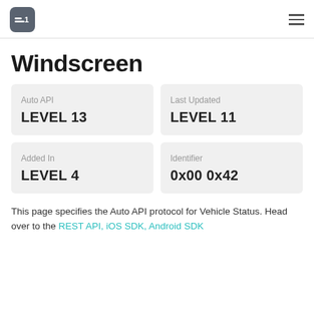Windscreen (header navigation with logo and menu)
Windscreen
| Label | Value |
| --- | --- |
| Auto API | LEVEL 13 |
| Last Updated | LEVEL 11 |
| Added In | LEVEL 4 |
| Identifier | 0x00 0x42 |
This page specifies the Auto API protocol for Vehicle Status. Head over to the REST API, iOS SDK, Android SDK